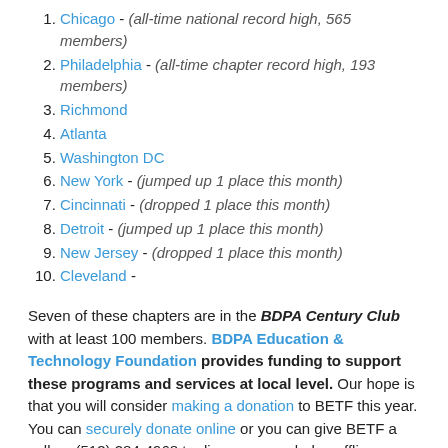1. Chicago - (all-time national record high, 565 members)
2. Philadelphia - (all-time chapter record high, 193 members)
3. Richmond
4. Atlanta
5. Washington DC
6. New York - (jumped up 1 place this month)
7. Cincinnati - (dropped 1 place this month)
8. Detroit - (jumped up 1 place this month)
9. New Jersey - (dropped 1 place this month)
10. Cleveland -
Seven of these chapters are in the BDPA Century Club with at least 100 members. BDPA Education & Technology Foundation provides funding to support these programs and services at local level. Our hope is that you will consider making a donation to BETF this year. You can securely donate online or you can give BETF a call on (513) 284-4968 to discuss your pledge offline. What say u?